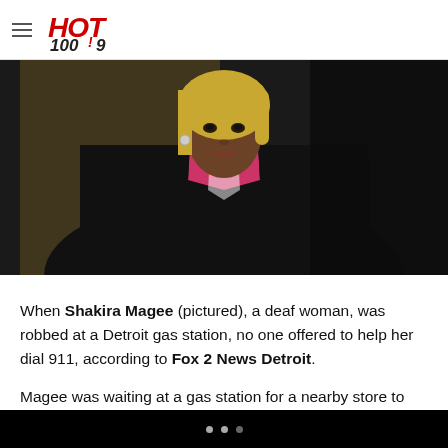HOT 100.9
[Figure (photo): A deaf woman, Shakira Magee, pictured in a dark setting wearing a black jacket with pink collar underneath, with blonde hair in a bob cut.]
When Shakira Magee (pictured), a deaf woman, was robbed at a Detroit gas station, no one offered to help her dial 911, according to Fox 2 News Detroit.
Magee was waiting at a gas station for a nearby store to open when the robbery took place. An unidentified man walked up